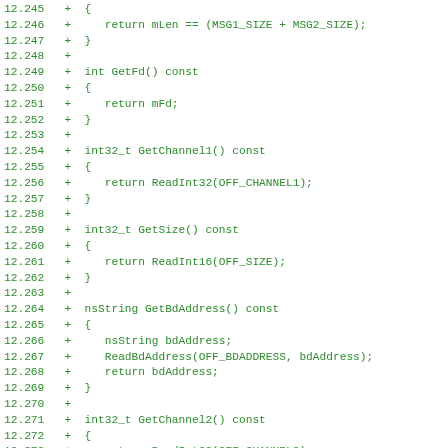[Figure (screenshot): Code diff showing C++ class method definitions with green text on white background, line numbers 12.245 through 12.277, all lines marked with '+' indicating additions]